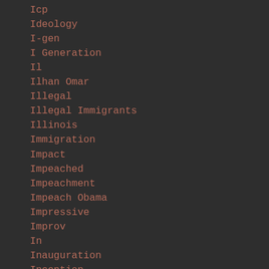Icp
Ideology
I-gen
I Generation
Il
Ilhan Omar
Illegal
Illegal Immigrants
Illinois
Immigration
Impact
Impeached
Impeachment
Impeach Obama
Impressive
Improv
In
Inauguration
Inception
Incredible
Indiana